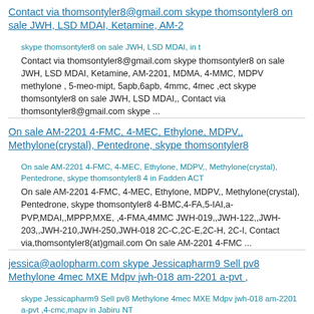Contact via thomsontyler8@gmail.com skype thomsontyler8 on sale JWH, LSD MDAI, Ketamine, AM-2
skype thomsontyler8 on sale JWH, LSD MDAI, in t
Contact via thomsontyler8@gmail.com skype thomsontyler8 on sale JWH, LSD MDAI, Ketamine, AM-2201, MDMA, 4-MMC, MDPV methylone , 5-meo-mipt, 5apb,6apb, 4mmc, 4mec ,ect skype thomsontyler8 on sale JWH, LSD MDAI,, Contact via thomsontyler8@gmail.com skype ...
On sale AM-2201 4-FMC, 4-MEC, Ethylone, MDPV,, Methylone(crystal), Pentedrone, skype thomsontyler8
On sale AM-2201 4-FMC, 4-MEC, Ethylone, MDPV,, Methylone(crystal), Pentedrone, skype thomsontyler8 4 in Fadden ACT
On sale AM-2201 4-FMC, 4-MEC, Ethylone, MDPV,, Methylone(crystal), Pentedrone, skype thomsontyler8 4-BMC,4-FA,5-IAI,a-PVP,MDAI,,MPPP,MXE, ,4-FMA,4MMC JWH-019,,JWH-122,,JWH-203,,JWH-210,JWH-250,JWH-018 2C-C,2C-E,2C-H, 2C-I, Contact via,thomsontyler8(at)gmail.com On sale AM-2201 4-FMC ...
jessica@aolopharm.com skype Jessicapharm9 Sell pv8 Methylone 4mec MXE Mdpv jwh-018 am-2201 a-pvt ,
skype Jessicapharm9 Sell pv8 Methylone 4mec MXE Mdpv jwh-018 am-2201 a-pvt ,4-cmc,mapv in Jabiru NT
jessica@aolopharm.com skype Jessicapharm9 Sell pv8 Methylone 4mec MXE Mdpv jwh-018 am-2201 a-pvt ,4-cmc,mapv KETAMINE 2C-E 2C-B 2C-LTH-0001,4-CMC,MAPV,A-PVT,FFAMP,FFABRISA,FBU,BB68,5-IAI, 5...